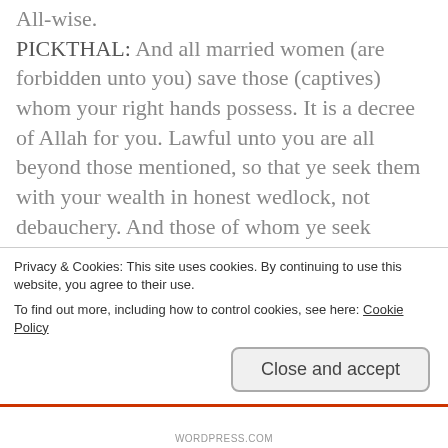All-wise.
PICKTHAL: And all married women (are forbidden unto you) save those (captives) whom your right hands possess. It is a decree of Allah for you. Lawful unto you are all beyond those mentioned, so that ye seek them with your wealth in honest wedlock, not debauchery. And those of whom ye seek content (by marrying them), give unto them their portions as a duty. And there is no sin for you in what ye do by mutual agreement after the duty (hath been done). Lo! Allah is ever Knower, Wise.
SHAKIR: (partially visible)
Privacy & Cookies: This site uses cookies. By continuing to use this website, you agree to their use.
To find out more, including how to control cookies, see here: Cookie Policy
Close and accept